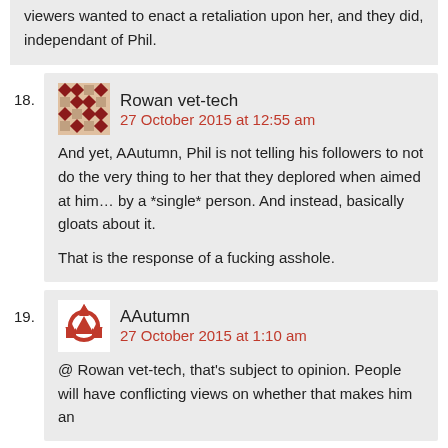viewers wanted to enact a retaliation upon her, and they did, independant of Phil.
18. Rowan vet-tech
27 October 2015 at 12:55 am
And yet, AAutumn, Phil is not telling his followers to not do the very thing to her that they deplored when aimed at him… by a *single* person. And instead, basically gloats about it.
That is the response of a fucking asshole.
19. AAutumn
27 October 2015 at 1:10 am
@ Rowan vet-tech, that's subject to opinion. People will have conflicting views on whether that makes him an